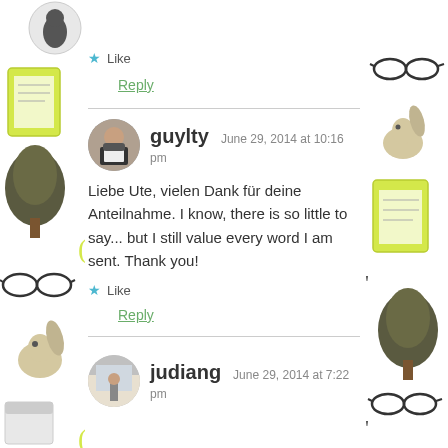[Figure (illustration): Decorative left border with illustrated objects: glasses, tree, notepad, squirrel, calendar, parenthesis symbols]
[Figure (illustration): Decorative right border with illustrated objects: glasses, notepad, squirrel, tree, calculator]
Like
Reply
[Figure (photo): Circular avatar photo of guylty - person holding a sign]
guylty  June 29, 2014 at 10:16 pm
Liebe Ute, vielen Dank für deine Anteilnahme. I know, there is so little to say... but I still value every word I am sent. Thank you!
Like
Reply
[Figure (photo): Circular avatar photo of judiang]
judiang  June 29, 2014 at 7:22 pm